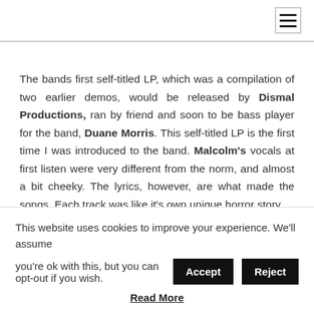The bands first self-titled LP, which was a compilation of two earlier demos, would be released by Dismal Productions, ran by friend and soon to be bass player for the band, Duane Morris. This self-titled LP is the first time I was introduced to the band. Malcolm's vocals at first listen were very different from the norm, and almost a bit cheeky. The lyrics, however, are what made the songs. Each track was like it's own unique horror story
This website uses cookies to improve your experience. We'll assume you're ok with this, but you can opt-out if you wish.
Read More